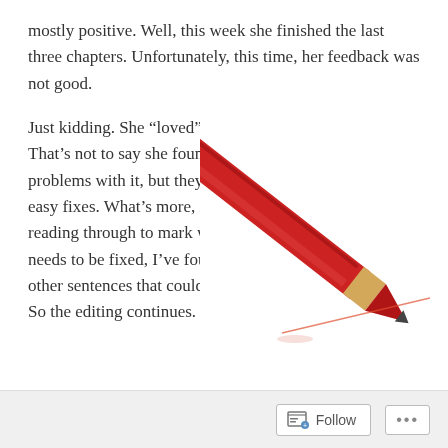mostly positive. Well, this week she finished the last three chapters. Unfortunately, this time, her feedback was not good.
Just kidding. She “loved” it. That’s not to say she found no problems with it, but they’re easy fixes. What’s more, in reading through to mark what needs to be fixed, I’ve found other sentences that could be clarified or strengthened. So the editing continues.
[Figure (photo): A red pencil pointing downward at an angle with its sharpened tip touching a surface, casting a faint red line/shadow to the right. The pencil has a yellow/tan ferrule area near the tip. The background is white.]
Follow ...